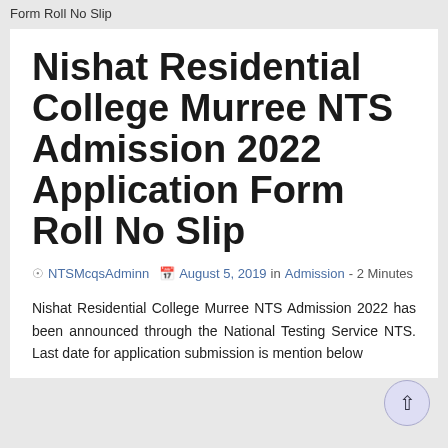Form Roll No Slip
Nishat Residential College Murree NTS Admission 2022 Application Form Roll No Slip
NTSMcqsAdminn   August 5, 2019 in Admission - 2 Minutes
Nishat Residential College Murree NTS Admission 2022 has been announced through the National Testing Service NTS. Last date for application submission is mention below